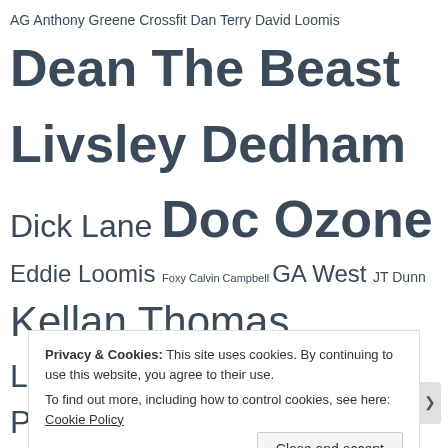AG Anthony Greene Crossfit Dan Terry David Loomis Dean The Beast Livsley Dedham Dick Lane Doc Ozone Eddie Loomis Foxy Calvin Campbell GA West JT Dunn Kellan Thomas Lumberjake Mike McCarthy Mike Montero Mike Paiva NCW NCW Heavyweight Championship NCW New England Championship NCW Tag Team Championship Norwood Norwood Elks Lodge Osirus Pacifico Press Release Results Reunion Rich Bass RIOT Rob the Giant Araujo
Privacy & Cookies: This site uses cookies. By continuing to use this website, you agree to their use. To find out more, including how to control cookies, see here: Cookie Policy
Close and accept